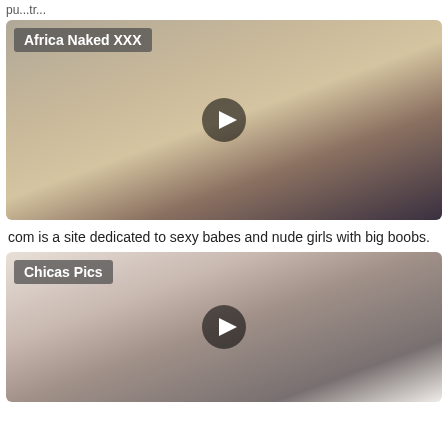pu...tr...
[Figure (photo): Photo thumbnail with label 'Africa Naked XXX' and a play button overlay]
com is a site dedicated to sexy babes and nude girls with big boobs.
[Figure (photo): Photo thumbnail with label 'Chicas Pics' and a play button overlay]